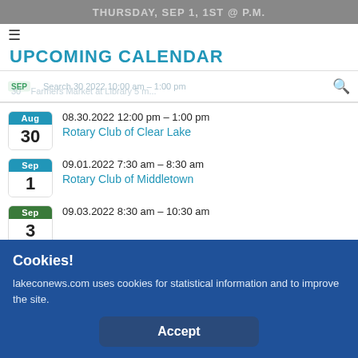THURSDAY, SEP 1, 1ST @ P.M.
UPCOMING CALENDAR
08.30.2022 12:00 pm - 1:00 pm | Rotary Club of Clear Lake
09.01.2022 7:30 am - 8:30 am | Rotary Club of Middletown
09.03.2022 8:30 am - 10:30 am
Cookies!
lakeconews.com uses cookies for statistical information and to improve the site.